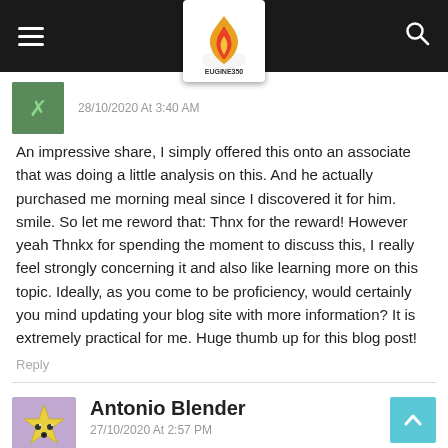Navigation bar with hamburger menu, EUGINE350 logo, and search icon
28/10/2020 At 3:40 AM
An impressive share, I simply offered this onto an associate that was doing a little analysis on this. And he actually purchased me morning meal since I discovered it for him. smile. So let me reword that: Thnx for the reward! However yeah Thnkx for spending the moment to discuss this, I really feel strongly concerning it and also like learning more on this topic. Ideally, as you come to be proficiency, would certainly you mind updating your blog site with more information? It is extremely practical for me. Huge thumb up for this blog post!
Reply
Antonio Blender
27/10/2020 At 2:57 PM
There is visibly a bundle to know about this. I think you